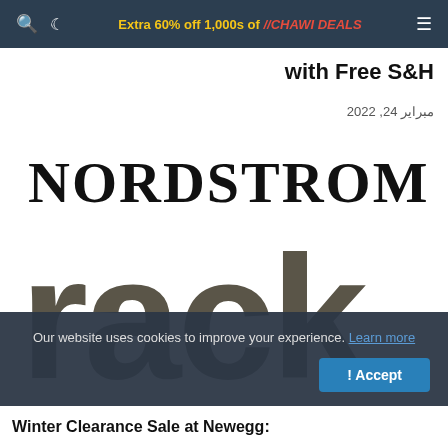Extra 60% off 1,000s of styles with Free S&H — //CHAWI DEALS
with Free S&H
مبراير 24, 2022
[Figure (logo): Nordstrom Rack logo — 'NORDSTROM' in bold serif above 'rack' in large bold sans-serif dark gray text]
Our website uses cookies to improve your experience. Learn more
! Accept
Winter Clearance Sale at Newegg: